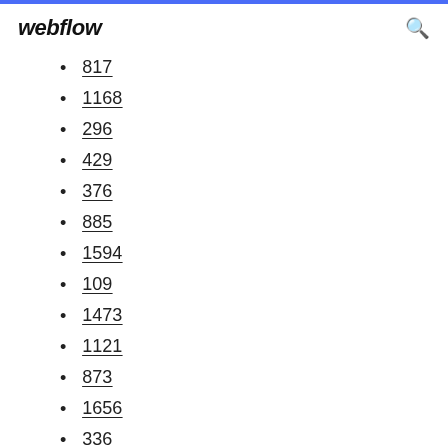webflow
817
1168
296
429
376
885
1594
109
1473
1121
873
1656
336